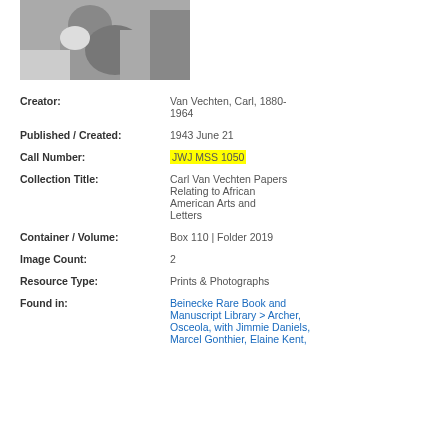[Figure (photo): Black and white photograph of a person, partially visible, top of page]
Creator: Van Vechten, Carl, 1880-1964
Published / Created: 1943 June 21
Call Number: JWJ MSS 1050
Collection Title: Carl Van Vechten Papers Relating to African American Arts and Letters
Container / Volume: Box 110 | Folder 2019
Image Count: 2
Resource Type: Prints & Photographs
Found in: Beinecke Rare Book and Manuscript Library > Archer, Osceola, with Jimmie Daniels, Marcel Gonthier, Elaine Kent,